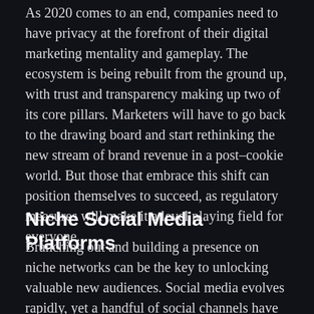As 2020 comes to an end, companies need to have privacy at the forefront of their digital marketing mentality and gameplay. The ecosystem is being rebuilt from the ground up, with trust and transparency making up two of its core pillars. Marketers will have to go back to the drawing board and start rethinking the new stream of brand revenue in a post-cookie world. But those that embrace this shift can position themselves to succeed, as regulatory measures will make it a level playing field for everyone.
Niche Social Media Platforms
Branching out and building a presence on niche networks can be the key to unlocking valuable new audiences. Social media evolves rapidly, yet a handful of social channels have consistently dominated over the past several years, giving the appearance of stability. But even with this dominance in the top five